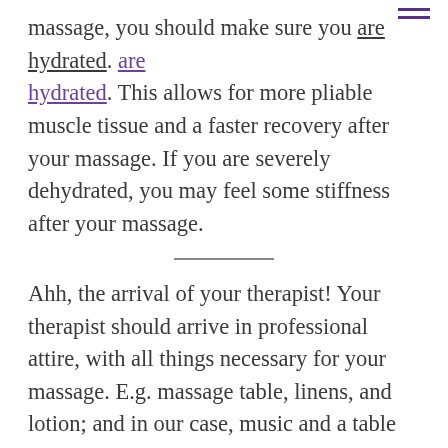massage, you should make sure you are hydrated. This allows for more pliable muscle tissue and a faster recovery after your massage. If you are severely dehydrated, you may feel some stiffness after your massage.
Ahh, the arrival of your therapist! Your therapist should arrive in professional attire, with all things necessary for your massage. E.g. massage table, linens, and lotion; and in our case, music and a table warmer. You will direct them to your home's set-up location for the massage. This can be anything from your living room, bedroom, dining room, whichever provides adequate